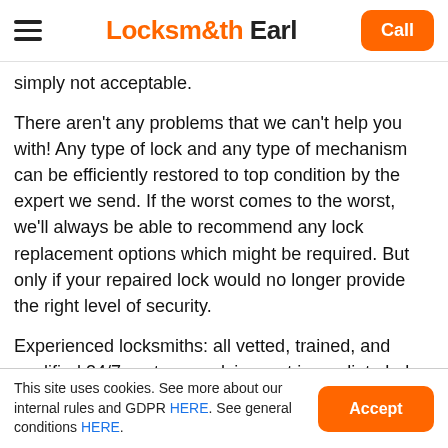Locksmith Earl — Call
simply not acceptable.
There aren't any problems that we can't help you with! Any type of lock and any type of mechanism can be efficiently restored to top condition by the expert we send. If the worst comes to the worst, we'll always be able to recommend any lock replacement options which might be required. But only if your repaired lock would no longer provide the right level of security.
Experienced locksmiths: all vetted, trained, and qualified 24/7 customer advice: get immediate help
This site uses cookies. See more about our internal rules and GDPR HERE. See general conditions HERE.